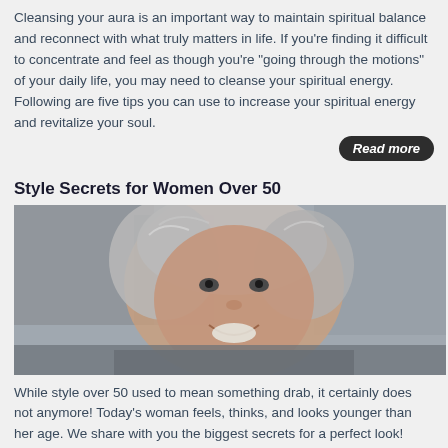Cleansing your aura is an important way to maintain spiritual balance and reconnect with what truly matters in life. If you're finding it difficult to concentrate and feel as though you're "going through the motions" of your daily life, you may need to cleanse your spiritual energy. Following are five tips you can use to increase your spiritual energy and revitalize your soul.
Read more
Style Secrets for Women Over 50
[Figure (photo): Portrait of an older woman with silver-grey hair, smiling warmly at the camera, outdoors with a blurred urban background, wearing a grey jacket.]
While style over 50 used to mean something drab, it certainly does not anymore! Today's woman feels, thinks, and looks younger than her age. We share with you the biggest secrets for a perfect look!
Read more